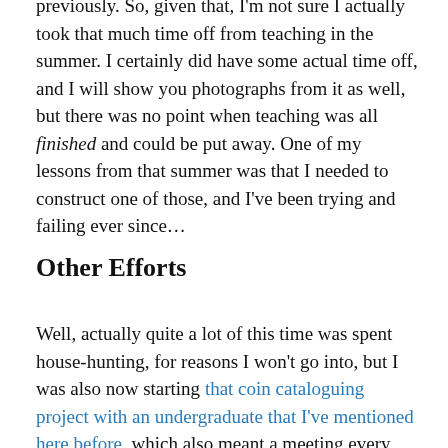previously. So, given that, I'm not sure I actually took that much time off from teaching in the summer. I certainly did have some actual time off, and I will show you photographs from it as well, but there was no point when teaching was all finished and could be put away. One of my lessons from that summer was that I needed to construct one of those, and I've been trying and failing ever since…
Other Efforts
Well, actually quite a lot of this time was spent house-hunting, for reasons I won't go into, but I was also now starting that coin cataloguing project with an undergraduate that I've mentioned here before, which also meant a meeting every few weeks, and also some larger